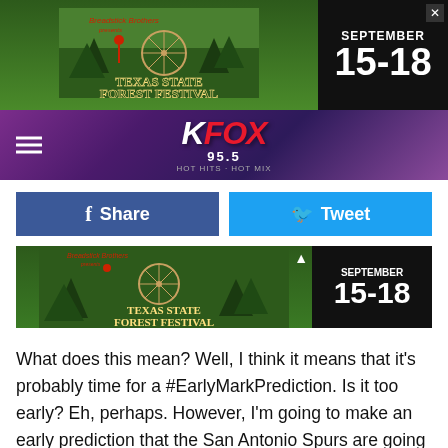[Figure (screenshot): Top advertisement banner for Texas State Forest Festival, September 15-18, with dark background]
[Figure (screenshot): KFOX 95.5 radio station navigation bar with hamburger menu and logo on purple geometric background]
[Figure (screenshot): Facebook Share button (blue) and Twitter Tweet button (light blue)]
[Figure (screenshot): Second Texas State Forest Festival advertisement, September 15-18]
What does this mean? Well, I think it means that it's probably time for a #EarlyMarkPrediction. Is it too early? Eh, perhaps. However, I'm going to make an early prediction that the San Antonio Spurs are going to win it all this year. This will be the year that they bring home the 6th NBA Title to San Antonio.
Why am I making a bold prediction this early? Well, let's look at it. T[obscured]ated. Only t[obscured]st a